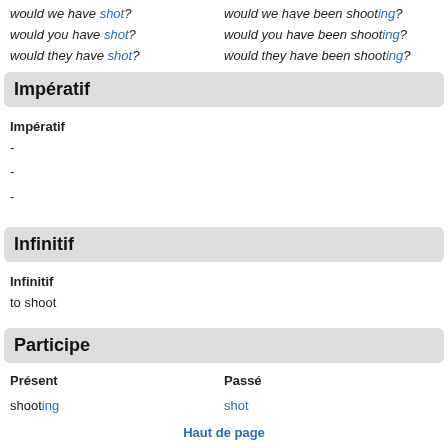would we have shot? / would you have shot? / would they have shot? / would we have been shooting? / would you have been shooting? / would they have been shooting?
Impératif
Impératif
-
-
-
Infinitif
Infinitif
to shoot
Participe
| Présent | Passé |
| --- | --- |
| shooting​ing | shot |
Haut de page